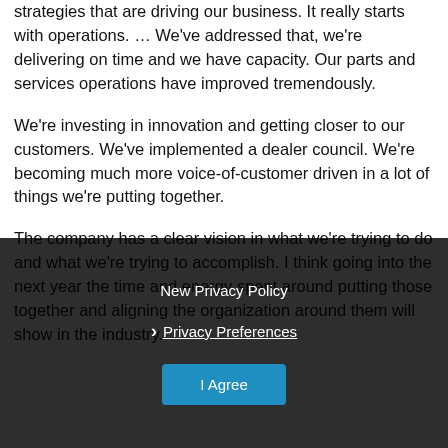strategies that are driving our business. It really starts with operations. … We've addressed that, we're delivering on time and we have capacity. Our parts and services operations have improved tremendously.
We're investing in innovation and getting closer to our customers. We've implemented a dealer council. We're becoming much more voice-of-customer driven in a lot of things we're putting together.
The company has a clear vision in what we're trying to do and what we're trying to accomplish. I think going into the next year the time and energy spent around putting those together and aligning the organization around them will show in the industry.
New Privacy Policy
Privacy Preferences
I Agree